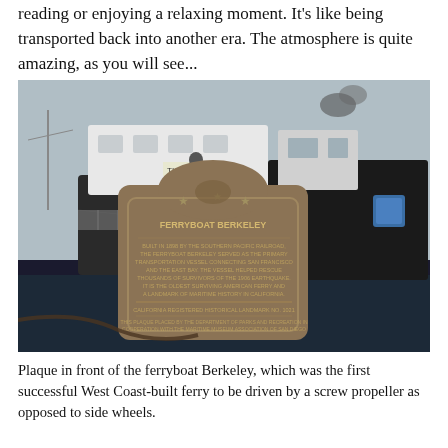reading or enjoying a relaxing moment. It's like being transported back into another era. The atmosphere is quite amazing, as you will see...
[Figure (photo): Photograph of a bronze historical landmark plaque in front of the ferryboat Berkeley, docked at a marina. The plaque reads 'Ferryboat Berkeley' and includes text about it being California Registered Historical Landmark No. 1021. A person is visible near a ticket booth in the background, and the dark hull of the boat is reflected in the water.]
Plaque in front of the ferryboat Berkeley, which was the first successful West Coast-built ferry to be driven by a screw propeller as opposed to side wheels.